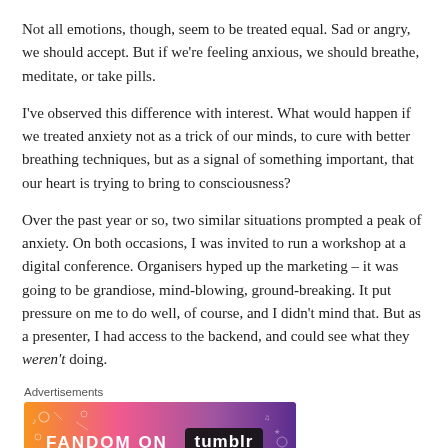Not all emotions, though, seem to be treated equal. Sad or angry, we should accept. But if we're feeling anxious, we should breathe, meditate, or take pills.
I've observed this difference with interest. What would happen if we treated anxiety not as a trick of our minds, to cure with better breathing techniques, but as a signal of something important, that our heart is trying to bring to consciousness?
Over the past year or so, two similar situations prompted a peak of anxiety. On both occasions, I was invited to run a workshop at a digital conference. Organisers hyped up the marketing – it was going to be grandiose, mind-blowing, ground-breaking. It put pressure on me to do well, of course, and I didn't mind that. But as a presenter, I had access to the backend, and could see what they weren't doing.
Advertisements
[Figure (illustration): Fandom on Tumblr advertisement banner with colorful gradient background (orange, pink, purple) and white illustrated doodles, showing 'FANDOM ON tumblr' text in bold white letters.]